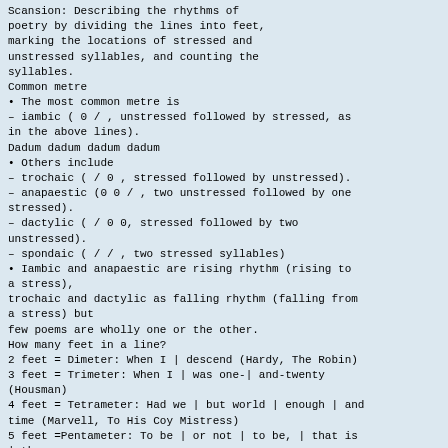Scansion: Describing the rhythms of poetry by dividing the lines into feet, marking the locations of stressed and unstressed syllables, and counting the syllables.
Common metre
• The most common metre is
– iambic ( 0 / , unstressed followed by stressed, as in the above lines).
Dadum dadum dadum dadum
• Others include
– trochaic ( / 0 , stressed followed by unstressed).
– anapaestic (0 0 / , two unstressed followed by one stressed).
– dactylic ( / 0 0, stressed followed by two unstressed).
– spondaic ( / / , two stressed syllables)
• Iambic and anapaestic are rising rhythm (rising to a stress),
trochaic and dactylic as falling rhythm (falling from a stress) but
few poems are wholly one or the other.
How many feet in a line?
2 feet = Dimeter: When I | descend (Hardy, The Robin)
3 feet = Trimeter: When I | was one-| and-twenty (Housman)
4 feet = Tetrameter: Had we | but world | enough | and
time (Marvell, To His Coy Mistress)
5 feet =Pentameter: To be | or not | to be, | that is | the
question (Shakespeare, Hamlet)
6 feet= Hexameter: A peri|phrastic | study || in a